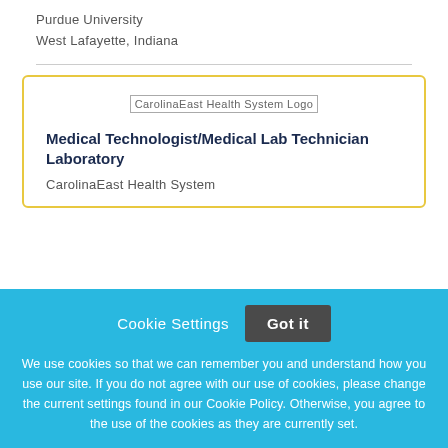Purdue University
West Lafayette, Indiana
[Figure (logo): CarolinaEast Health System Logo placeholder image]
Medical Technologist/Medical Lab Technician Laboratory
CarolinaEast Health System
Cookie Settings  Got it
We use cookies so that we can remember you and understand how you use our site. If you do not agree with our use of cookies, please change the current settings found in our Cookie Policy. Otherwise, you agree to the use of the cookies as they are currently set.